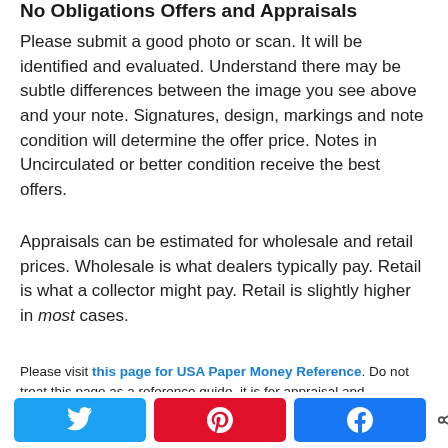No Obligations Offers and Appraisals
Please submit a good photo or scan. It will be identified and evaluated. Understand there may be subtle differences between the image you see above and your note. Signatures, design, markings and note condition will determine the offer price. Notes in Uncirculated or better condition receive the best offers.
Appraisals can be estimated for wholesale and retail prices. Wholesale is what dealers typically pay. Retail is what a collector might pay. Retail is slightly higher in most cases.
Please visit this page for USA Paper Money Reference. Do not treat this page as a reference guide, it is for appraisal and
[Figure (infographic): Social share buttons row: Twitter (blue), Pinterest (red), Facebook (blue), and a share count showing 0 SHARES]